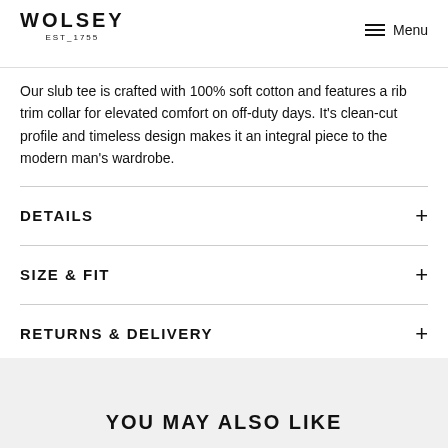WOLSEY EST_1755 Menu
Our slub tee is crafted with 100% soft cotton and features a rib trim collar for elevated comfort on off-duty days. It's clean-cut profile and timeless design makes it an integral piece to the modern man's wardrobe.
DETAILS
SIZE & FIT
RETURNS & DELIVERY
YOU MAY ALSO LIKE